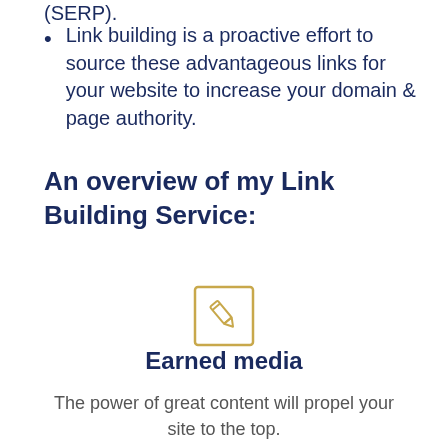Link building is a proactive effort to source these advantageous links for your website to increase your domain & page authority.
An overview of my Link Building Service:
[Figure (illustration): Golden/yellow outlined square icon with a pencil/edit symbol inside, representing earned media or content creation.]
Earned media
The power of great content will propel your site to the top.